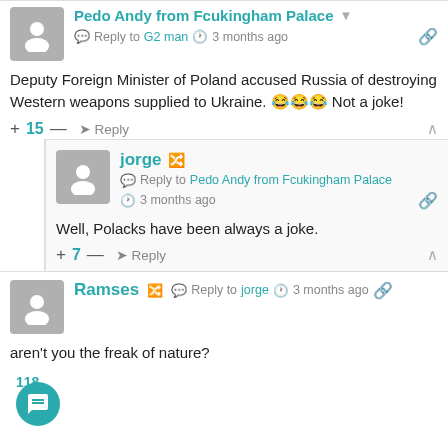Reply to G2 man · 3 months ago
Deputy Foreign Minister of Poland accused Russia of destroying Western weapons supplied to Ukraine. 😂😂😂 Not a joke!
+ 15 — Reply
jorge — Reply to Pedo Andy from Fcukingham Palace · 3 months ago
Well, Polacks have been always a joke.
+ 7 — Reply
Ramses — Reply to jorge · 3 months ago
aren't you the freak of nature?